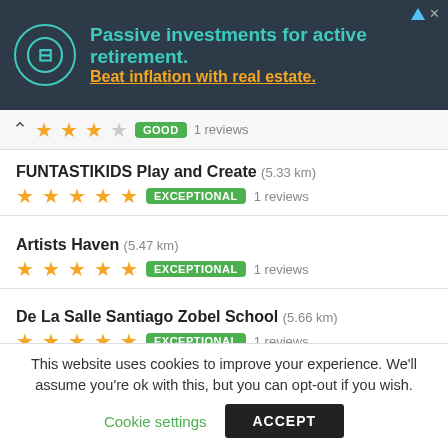[Figure (other): Advertisement banner: dark background with teal logo circle, text 'Passive investments for active retirement. Beat inflation with real estate.']
★★★☆ GOOD 1 reviews
FUNTASTIKIDS Play and Create (5.33 km) ★★★★★ EXCEPTIONAL 1 reviews
Artists Haven (5.47 km) ★★★★★ EXCEPTIONAL 1 reviews
De La Salle Santiago Zobel School (5.66 km) ★★★★★ EXCEPTIONAL 1 reviews
PAREF Woodrose School (6.14 km) ★★★★★ EXCEPTIONAL 1 reviews
This website uses cookies to improve your experience. We'll assume you're ok with this, but you can opt-out if you wish.
Cookie settings  ACCEPT